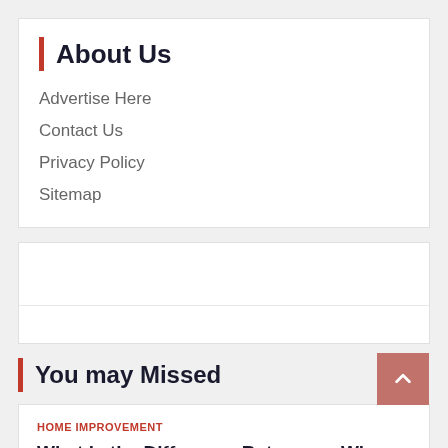About Us
Advertise Here
Contact Us
Privacy Policy
Sitemap
[Figure (other): Advertisement placeholder box with a horizontal divider line]
You may Missed
HOME IMPROVEMENT
What is the Difference Between a Wine Cooler and a Wine Cellar?